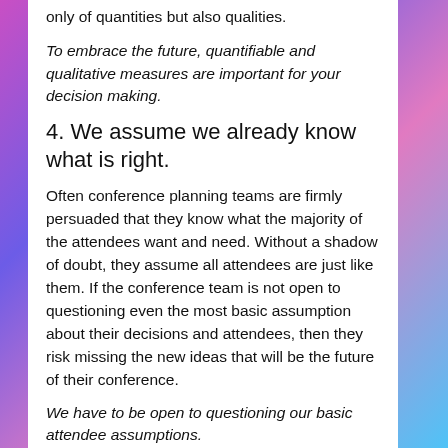only of quantities but also qualities.
To embrace the future, quantifiable and qualitative measures are important for your decision making.
4. We assume we already know what is right.
Often conference planning teams are firmly persuaded that they know what the majority of the attendees want and need. Without a shadow of doubt, they assume all attendees are just like them. If the conference team is not open to questioning even the most basic assumption about their decisions and attendees, then they risk missing the new ideas that will be the future of their conference.
We have to be open to questioning our basic attendee assumptions.
What other default thinking methods cloud our